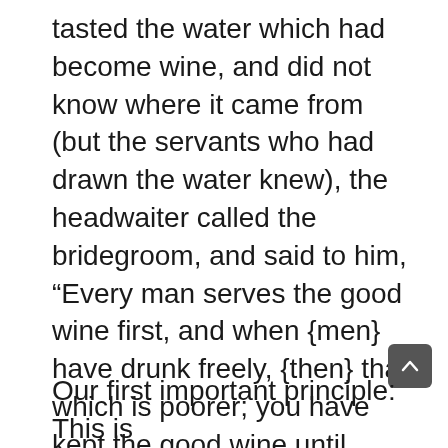tasted the water which had become wine, and did not know where it came from (but the servants who had drawn the water knew), the headwaiter called the bridegroom, and said to him, “Every man serves the good wine first, and when {men} have drunk freely, {then} that which is poorer; you have kept the good wine until now.” This beginning of {His} signs Jesus did in Cana of Galilee, and manifested His glory, and His disciples believed in Him.
Our first important principle: This is